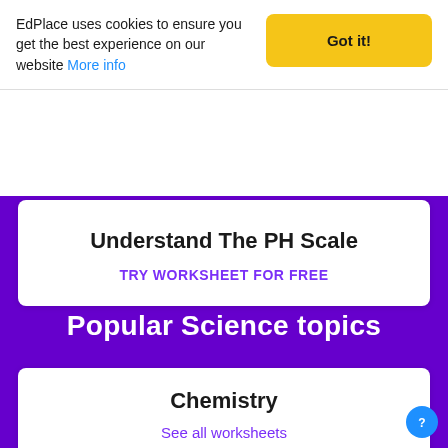EdPlace uses cookies to ensure you get the best experience on our website More info
Got it!
Understand The PH Scale
TRY WORKSHEET FOR FREE
Popular Science topics
Chemistry
See all worksheets